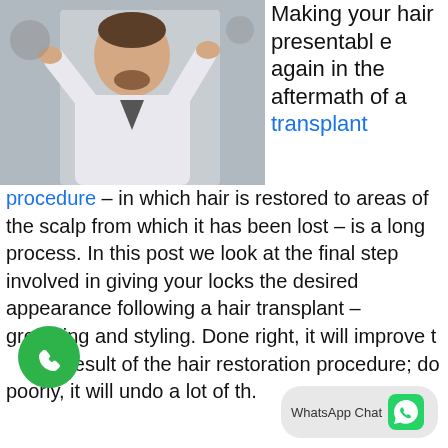[Figure (photo): Man in white shirt and dark tie combing his hair with both hands raised, studio background]
Making your hair presentable again in the aftermath of a transplant procedure – in which hair is restored to areas of the scalp from which it has been lost – is a long process. In this post we look at the final step involved in giving your locks the desired appearance following a hair transplant – grooming and styling. Done right, it will improve the result of the hair restoration procedure; done poorly, it will undo a lot of th...